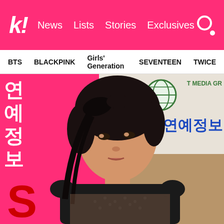k! News Lists Stories Exclusives
BTS BLACKPINK Girls' Generation SEVENTEEN TWICE
[Figure (photo): A Korean female celebrity wearing a black lace sleeveless dress and a dark bow headband with long ribbon, photographed at an event with Korean text banners in the background including a pink banner with Korean characters and a logo reading MEDIA GR. She is looking to her right with a neutral expression.]